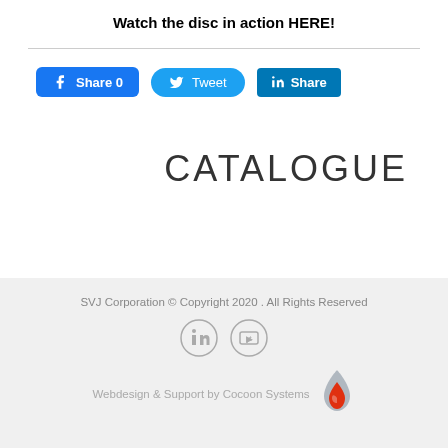Watch the disc in action HERE!
[Figure (infographic): Social sharing buttons: Facebook Share 0, Twitter Tweet, LinkedIn Share]
CATALOGUE
SVJ Corporation © Copyright 2020 . All Rights Reserved
[Figure (infographic): LinkedIn and YouTube social icon circles in footer]
Webdesign & Support by Cocoon Systems
[Figure (logo): Cocoon Systems water drop logo in red and grey]